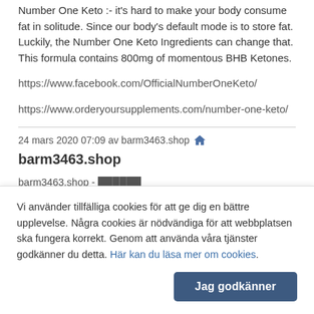Number One Keto :- it's hard to make your body consume fat in solitude. Since our body's default mode is to store fat. Luckily, the Number One Keto Ingredients can change that. This formula contains 800mg of momentous BHB Ketones.
https://www.facebook.com/OfficialNumberOneKeto/
https://www.orderyoursupplements.com/number-one-keto/
24 mars 2020 07:09 av barm3463.shop 🏠
barm3463.shop
barm3463.shop - ██████
barm3463.shop - ████████
barm3463.shop - ████████
barm3463.shop - ████████
Vi använder tillfälliga cookies för att ge dig en bättre upplevelse. Några cookies är nödvändiga för att webbplatsen ska fungera korrekt. Genom att använda våra tjänster godkänner du detta. Här kan du läsa mer om cookies.